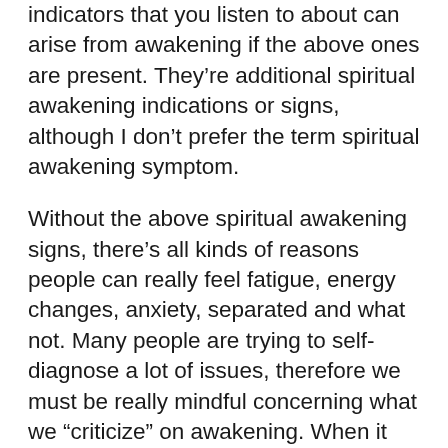indicators that you listen to about can arise from awakening if the above ones are present. They’re additional spiritual awakening indications or signs, although I don’t prefer the term spiritual awakening symptom.
Without the above spiritual awakening signs, there’s all kinds of reasons people can really feel fatigue, energy changes, anxiety, separated and what not. Many people are trying to self-diagnose a lot of issues, therefore we must be really mindful concerning what we “criticize” on awakening. When it comes to the body discomforts and pain, when doubtful, check in with a physician to make certain that your body is healthy.